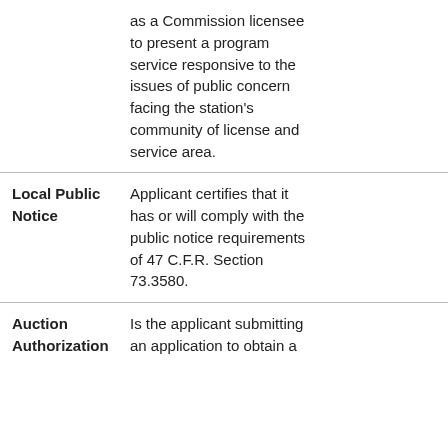|  | as a Commission licensee to present a program service responsive to the issues of public concern facing the station's community of license and service area. |  |
| Local Public Notice | Applicant certifies that it has or will comply with the public notice requirements of 47 C.F.R. Section 73.3580. |  |
| Auction Authorization | Is the applicant submitting an application to obtain a... |  |